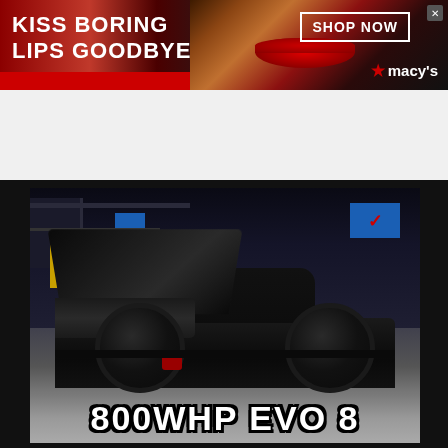[Figure (photo): Macy's banner advertisement: dark background with woman's face and red lips, text 'KISS BORING LIPS GOODBYE', 'SHOP NOW' button, Macy's logo with star]
[Figure (photo): YouTube video thumbnail of a black Mitsubishi Lancer Evolution 8 with hood open at a gas station at night, text overlay '800WHP EVO 8']
[Figure (photo): Belk display advertisement: 'STEP OUT IN STYLE' label, BELK brand name, two thumbnail images, text 'Step out in style.' and 'www.belk.com', purple arrow button]